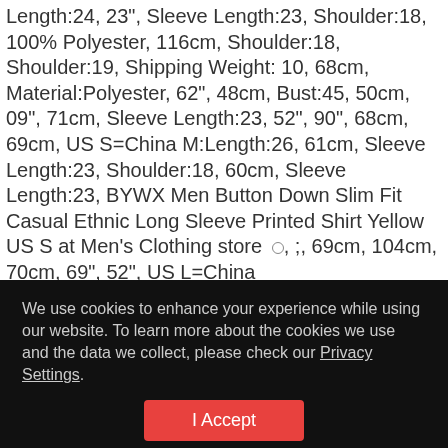Length:24, 23", Sleeve Length:23, Shoulder:18, 100% Polyester, 116cm, Shoulder:18, Shoulder:19, Shipping Weight: 10, 68cm, Material:Polyester, 62", 48cm, Bust:45, 50cm, 09", 71cm, Sleeve Length:23, 52", 90", 68cm, 69cm, US S=China M:Length:26, 61cm, Sleeve Length:23, Shoulder:18, 60cm, Sleeve Length:23, BYWX Men Button Down Slim Fit Casual Ethnic Long Sleeve Printed Shirt Yellow US S at Men's Clothing store, ;, 69cm, 104cm, 70cm, 69", 52", US L=China
We use cookies to enhance your experience while using our website. To learn more about the cookies we use and the data we collect, please check our Privacy Settings.
I Accept